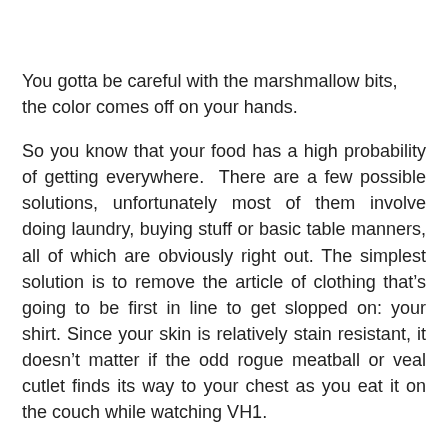You gotta be careful with the marshmallow bits, the color comes off on your hands.
So you know that your food has a high probability of getting everywhere. There are a few possible solutions, unfortunately most of them involve doing laundry, buying stuff or basic table manners, all of which are obviously right out. The simplest solution is to remove the article of clothing that’s going to be first in line to get slopped on: your shirt. Since your skin is relatively stain resistant, it doesn’t matter if the odd rogue meatball or veal cutlet finds its way to your chest as you eat it on the couch while watching VH1.
3.